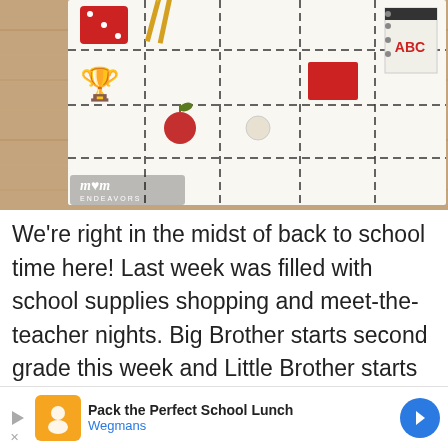[Figure (photo): A back-to-school bingo card on a wooden table surface with school supply items placed on it: red dice, pencils/chopsticks, a small apple, red eraser, ABC notebook, and a trophy icon drawn on the card. Mom Endeavors watermark in bottom left.]
We're right in the midst of back to school time here! Last week was filled with school supplies shopping and meet-the-teacher nights. Big Brother starts second grade this week and Little Brother starts preschool! We just had one last little summer playdate and decided on a “back to school” party theme. So, I made up these printable Back to School BINGO cards that the kids loved playing!
[Figure (other): Advertisement banner: Pack the Perfect School Lunch - Wegmans, with orange icon and blue navigation arrow.]